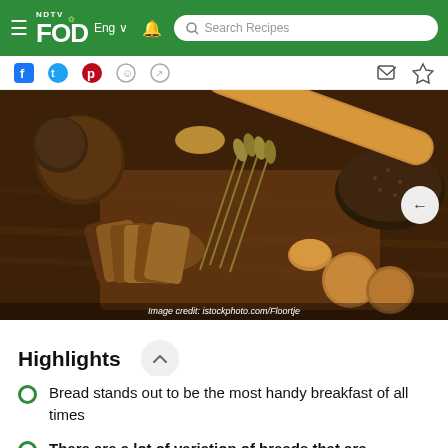NDTV FOOD Eng | Search Recipes
[Figure (photo): Assorted breads and baked goods on a wooden surface, including sliced brown bread, baguettes, rolls, and wheat stalks. Image credit: istockphoto.com/Floortje]
Image credit: istockphoto.com/Floortje
Highlights
Bread stands out to be the most handy breakfast of all times
There are a lot of variation of breads that are available